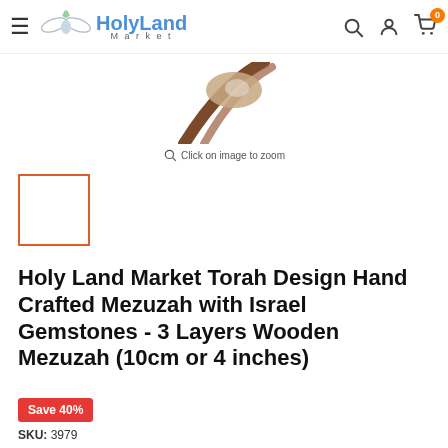HolyLand Market — navigation header with menu, logo, search, account, cart (0)
[Figure (photo): Product image: partial view of a Mezuzah with leather cord, shown cropped at the bottom of the image area. Zoom icon and 'Click on image to zoom' text below.]
[Figure (photo): Thumbnail image selector box with orange/red border, currently selected (empty white box shown)]
Holy Land Market Torah Design Hand Crafted Mezuzah with Israel Gemstones - 3 Layers Wooden Mezuzah (10cm or 4 inches)
Save 40%
SKU: 3979